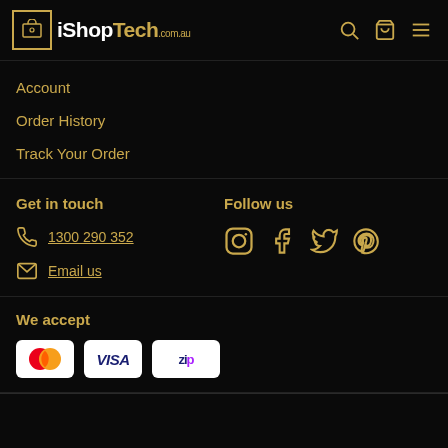iShopTech.com.au
Account
Order History
Track Your Order
Get in touch
1300 290 352
Email us
Follow us
[Figure (infographic): Social media icons: Instagram, Facebook, Twitter, Pinterest in gold outline style]
We accept
[Figure (infographic): Payment method badges: Mastercard, Visa, Zip]